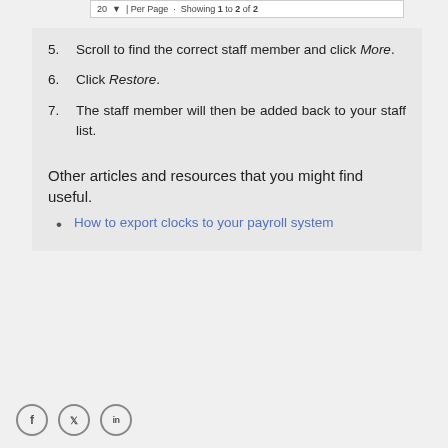[Figure (screenshot): Pagination bar showing '20 ▼ Per Page · Showing 1 to 2 of 2']
5. Scroll to find the correct staff member and click More.
6. Click Restore.
7. The staff member will then be added back to your staff list.
Other articles and resources that you might find useful.
How to export clocks to your payroll system
Social icons: Facebook, Twitter, LinkedIn